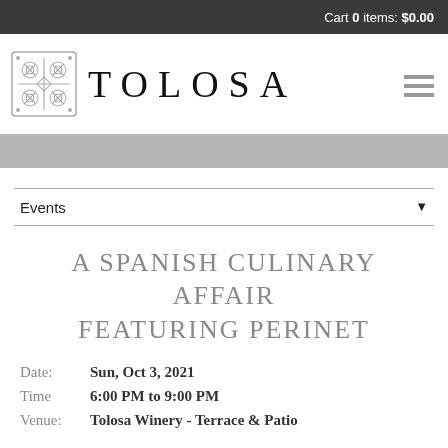Cart 0 items: $0.00
[Figure (logo): Tolosa Winery logo: ornate square emblem with floral/cross pattern alongside the word TOLOSA in large spaced serif capitals]
A SPANISH CULINARY AFFAIR FEATURING PERINET
Date: Sun, Oct 3, 2021
Time 6:00 PM to 9:00 PM
Venue: Tolosa Winery - Terrace & Patio